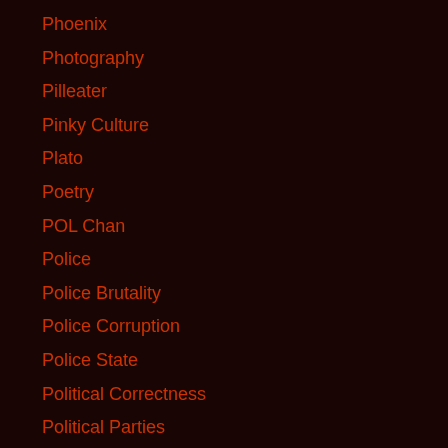Phoenix
Photography
Pilleater
Pinky Culture
Plato
Poetry
POL Chan
Police
Police Brutality
Police Corruption
Police State
Political Correctness
Political Parties
Politics
Polly Frost